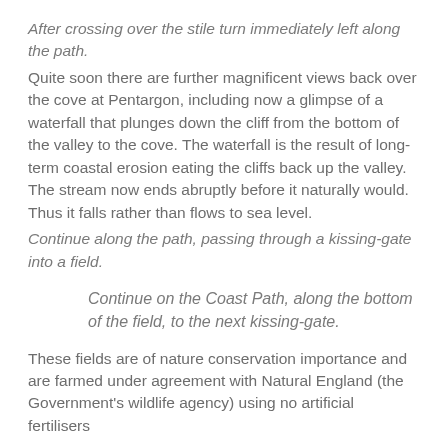After crossing over the stile turn immediately left along the path.
Quite soon there are further magnificent views back over the cove at Pentargon, including now a glimpse of a waterfall that plunges down the cliff from the bottom of the valley to the cove. The waterfall is the result of long-term coastal erosion eating the cliffs back up the valley. The stream now ends abruptly before it naturally would. Thus it falls rather than flows to sea level.
Continue along the path, passing through a kissing-gate into a field.
Continue on the Coast Path, along the bottom of the field, to the next kissing-gate.
These fields are of nature conservation importance and are farmed under agreement with Natural England (the Government's wildlife agency) using no artificial fertilisers